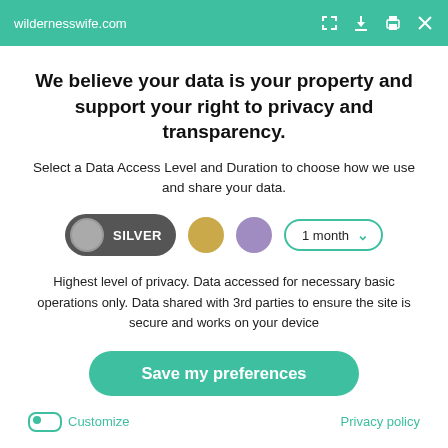wildernesswife.com
We believe your data is your property and support your right to privacy and transparency.
Select a Data Access Level and Duration to choose how we use and share your data.
[Figure (infographic): Privacy level controls: Silver toggle button (selected), gold circle, purple circle, and a '1 month' dropdown with teal border and chevron]
Highest level of privacy. Data accessed for necessary basic operations only. Data shared with 3rd parties to ensure the site is secure and works on your device
Save my preferences
Customize
Privacy policy